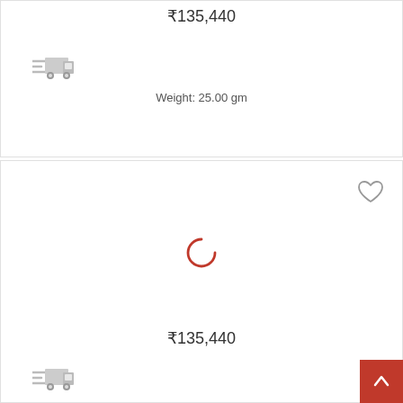₹135,440
[Figure (illustration): Grey delivery truck / fast shipping icon]
Weight: 25.00 gm
[Figure (illustration): Heart / wishlist icon outline]
[Figure (illustration): Red circular loading spinner]
₹135,440
[Figure (illustration): Grey delivery truck / fast shipping icon (partially visible)]
[Figure (illustration): Dark red back-to-top button with upward chevron arrow]